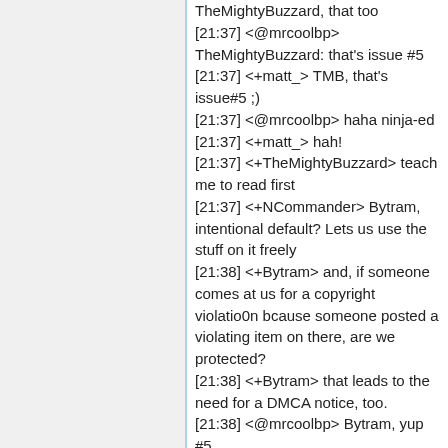TheMightyBuzzard, that too
[21:37] <@mrcoolbp>
TheMightyBuzzard: that's issue #5
[21:37] <+matt_> TMB, that's issue#5 ;)
[21:37] <@mrcoolbp> haha ninja-ed
[21:37] <+matt_> hah!
[21:37] <+TheMightyBuzzard> teach me to read first
[21:37] <+NCommander> Bytram, intentional default? Lets us use the stuff on it freely
[21:38] <+Bytram> and, if someone comes at us for a copyright violatio0n bcause someone posted a violating item on there, are we protected?
[21:38] <+Bytram> that leads to the need for a DMCA notice, too.
[21:38] <@mrcoolbp> Bytram, yup #5
[21:38] <+matt_> Bytram, you had a number of sub-items for issue #2. would